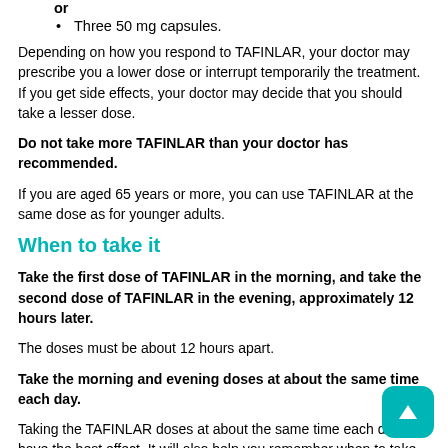or
Three 50 mg capsules.
Depending on how you respond to TAFINLAR, your doctor may prescribe you a lower dose or interrupt temporarily the treatment. If you get side effects, your doctor may decide that you should take a lesser dose.
Do not take more TAFINLAR than your doctor has recommended.
If you are aged 65 years or more, you can use TAFINLAR at the same dose as for younger adults.
When to take it
Take the first dose of TAFINLAR in the morning, and take the second dose of TAFINLAR in the evening, approximately 12 hours later.
The doses must be about 12 hours apart.
Take the morning and evening doses at about the same time each day.
Taking the TAFINLAR doses at about the same time each day will have the best effect. It will also help you remember when to take it.